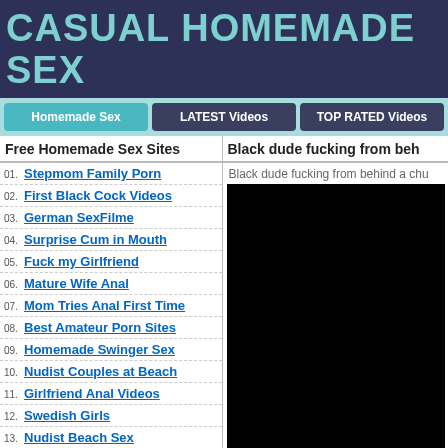CASUAL HOMEMADE SEX
Homemade Sex | LATEST Videos | TOP RATED Videos
Free Homemade Sex Sites
Black dude fucking from beh…
01. Stepmom Family Porn
02. First Black Cock Videos
03. German SexFilme
04. Surprise Cum in Mouth
05. Fuck my Girlfriend
06. Mature Wife Anal
07. Mom Tries Anal First Time
08. Best Amateur Porn Sites
09. Homemade Swinger Sex
10. Nudist Couples at Beach
11. Girlfriend Anal Videos
12. Swedish Girls
13. Nudist Beach Sex
Black dude fucking from behind a chu…
[Figure (photo): Black/dark video thumbnail]